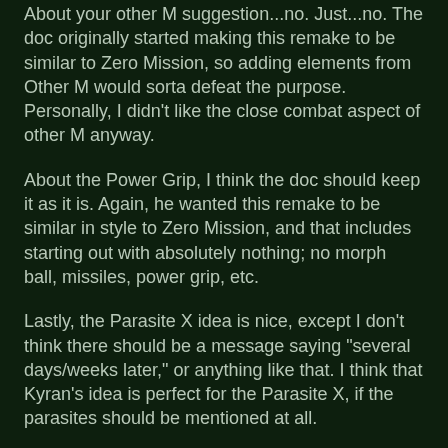About your other M suggestion...no. Just...no. The doc originally started making this remake to be similar to Zero Mission, so adding elements from Other M would sorta defeat the purpose. Personally, I didn't like the close combat aspect of other M anyway.
About the Power Grip, I think the doc should keep it as it is. Again, he wanted this remake to be similar in style to Zero Mission, and that includes starting out with absolutely nothing; no morph ball, missiles, power grip, etc.
Lastly, the Parasite X idea is nice, except I don't think there should be a message saying "several days/weeks later," or anything like that. I think that Kyran's idea is perfect for the Parasite X, if the parasites should be mentioned at all.
March 13, 2011 at 11:20 AM
Anonymous said...
Is there any support for right to left languages?